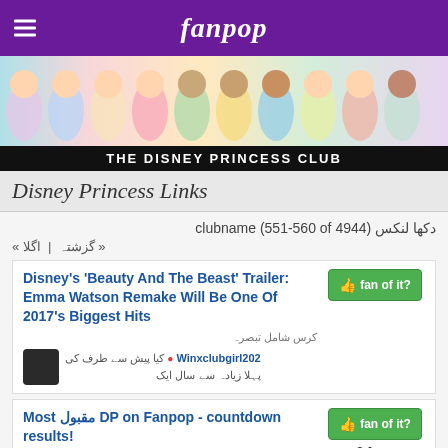fanpop
[Figure (illustration): Disney Princess characters banner image showing multiple Disney princesses in colorful illustrated style]
THE DISNEY PRINCESS CLUB
Disney Princess Links
دکھا لنکس clubname (551-560 of 4944)
« گزشتہ  |  اگلا »
Disney's 'Beauty And The Beast' Trailer: Emma Watson Remake Will Be One Of 2017's Biggest Hits
کرس شامل تبصرہ
Winxclubgirl202 ● کیا پیش سے طرف کی
پہلا زیادہ سے سال ایک
Most مقبول DP on Fanpop - countdown results!
3 fans
5 comments
MaidofOrleans ● کیا پیش سے طرف کی
پہلا زیادہ سے سال ایک